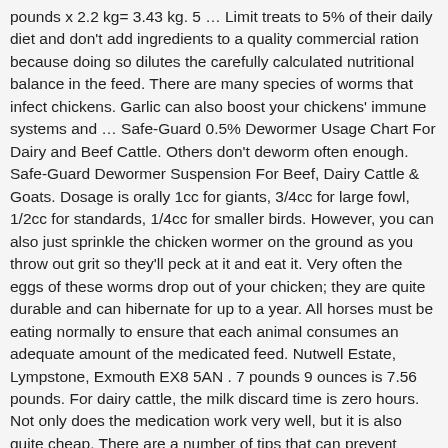pounds x 2.2 kg= 3.43 kg. 5 … Limit treats to 5% of their daily diet and don't add ingredients to a quality commercial ration because doing so dilutes the carefully calculated nutritional balance in the feed. There are many species of worms that infect chickens. Garlic can also boost your chickens' immune systems and … Safe-Guard 0.5% Dewormer Usage Chart For Dairy and Beef Cattle. Others don't deworm often enough. Safe-Guard Dewormer Suspension For Beef, Dairy Cattle & Goats. Dosage is orally 1cc for giants, 3/4cc for large fowl, 1/2cc for standards, 1/4cc for smaller birds. However, you can also just sprinkle the chicken wormer on the ground as you throw out grit so they'll peck at it and eat it. Very often the eggs of these worms drop out of your chicken; they are quite durable and can hibernate for up to a year. All horses must be eating normally to ensure that each animal consumes an adequate amount of the medicated feed. Nutwell Estate, Lympstone, Exmouth EX8 5AN . 7 pounds 9 ounces is 7.56 pounds. For dairy cattle, the milk discard time is zero hours. Not only does the medication work very well, but it is also quite cheap. There are a number of tips that can prevent worm